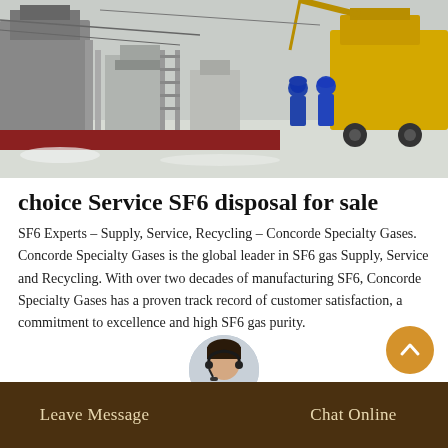[Figure (photo): Industrial outdoor scene with workers in blue uniforms and hard hats near large machinery and a yellow crane/truck in a snowy environment.]
choice Service SF6 disposal for sale
SF6 Experts – Supply, Service, Recycling – Concorde Specialty Gases. Concorde Specialty Gases is the global leader in SF6 gas Supply, Service and Recycling. With over two decades of manufacturing SF6, Concorde Specialty Gases has a proven track record of customer satisfaction, a commitment to excellence and high SF6 gas purity.